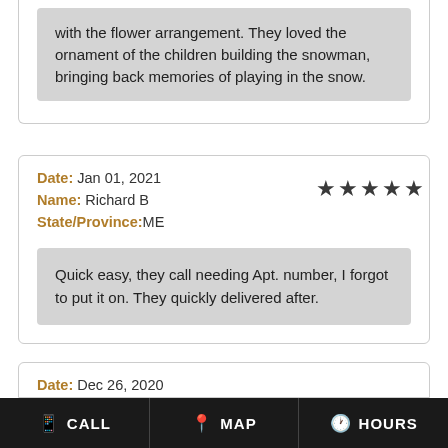with the flower arrangement. They loved the ornament of the children building the snowman, bringing back memories of playing in the snow.
Date: Jan 01, 2021
Name: Richard B
State/Province: ME
Quick easy, they call needing Apt. number, I forgot to put it on. They quickly delivered after.
Date: Dec 26, 2020
Name: Linda O
CALL  MAP  HOURS